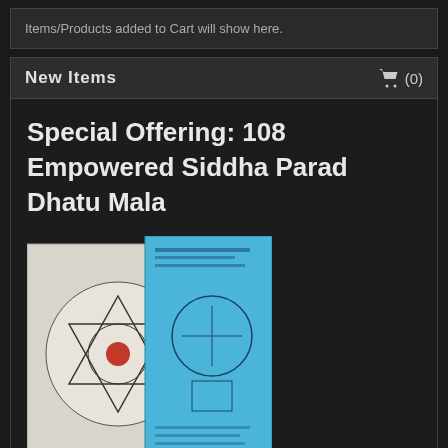Items/Products added to Cart will show here.
New Items
Special Offering: 108 Empowered Siddha Parad Dhatu Mala
[Figure (photo): Product image showing a yantra diagram print and a blue booklet/pamphlet]
$108.00
Out of Stock